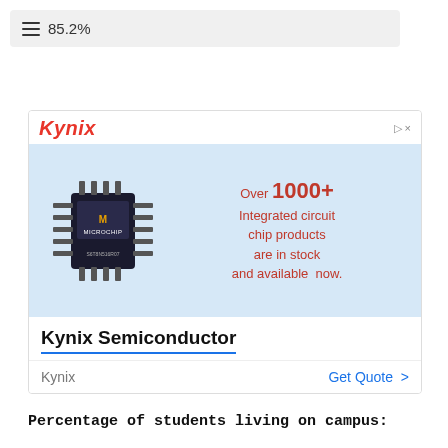85.2%
[Figure (advertisement): Kynix Semiconductor advertisement showing a Microchip integrated circuit chip with text 'Over 1000+ Integrated circuit chip products are in stock and available now.' with a Get Quote button.]
Percentage of students living on campus: